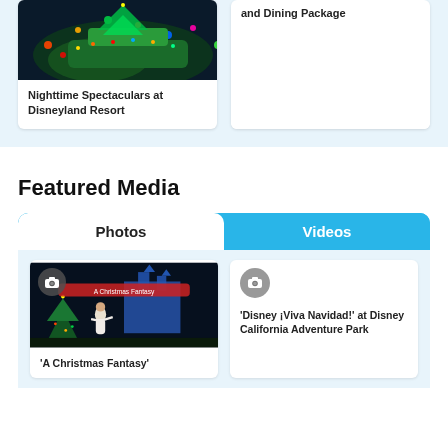[Figure (photo): Nighttime parade float with colorful lights at Disneyland Resort]
Nighttime Spectaculars at Disneyland Resort
and Dining Package
Featured Media
Photos
Videos
[Figure (photo): A Christmas Fantasy parade with dancer in white dress and lit castle at Disneyland]
'A Christmas Fantasy'
[Figure (photo): Camera icon placeholder for Disney Viva Navidad video]
'Disney ¡Viva Navidad!' at Disney California Adventure Park